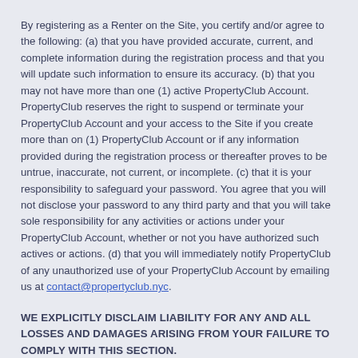By registering as a Renter on the Site, you certify and/or agree to the following: (a) that you have provided accurate, current, and complete information during the registration process and that you will update such information to ensure its accuracy. (b) that you may not have more than one (1) active PropertyClub Account. PropertyClub reserves the right to suspend or terminate your PropertyClub Account and your access to the Site if you create more than on (1) PropertyClub Account or if any information provided during the registration process or thereafter proves to be untrue, inaccurate, not current, or incomplete. (c) that it is your responsibility to safeguard your password. You agree that you will not disclose your password to any third party and that you will take sole responsibility for any activities or actions under your PropertyClub Account, whether or not you have authorized such actives or actions. (d) that you will immediately notify PropertyClub of any unauthorized use of your PropertyClub Account by emailing us at contact@propertyclub.nyc.
WE EXPLICITLY DISCLAIM LIABILITY FOR ANY AND ALL LOSSES AND DAMAGES ARISING FROM YOUR FAILURE TO COMPLY WITH THIS SECTION.